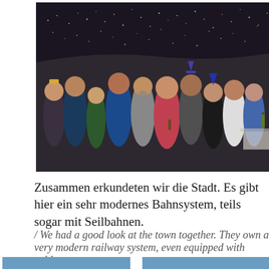[Figure (photo): Group of young people posing together at night with city lights in the background, some wearing party hats and accessories, likely a New Year's celebration]
Zusammen erkundeten wir die Stadt. Es gibt hier ein sehr modernes Bahnsystem, teils sogar mit Seilbahnen.
/ We had a good look at the town together. They own a very modern railway system, even equipped with cable cars.
[Figure (photo): Two partial photos at the bottom of the page, cut off]